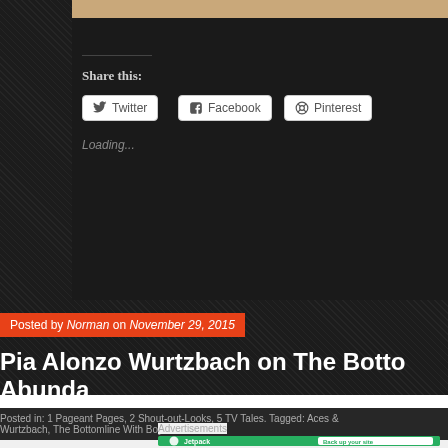[Figure (photo): Partial photo visible at top, showing a warm-toned image cropped at the top of the page]
Share this:
Twitter
Facebook
Pinterest
Tumblr
Email
Loading...
Posted by Norman on November 29, 2015
Pia Alonzo Wurtzbach on The Botto Abunda
Posted in: 1 Pageant Pages, 2 Shout-out-Looks, 5 TV Tales. Tagged: Aces & Wurtzbach, The Bottomline With Boy Abunda.
Advertisements
[Figure (screenshot): Jetpack advertisement banner with green background showing 'Jetpack' logo and 'Back up your site' call to action button]